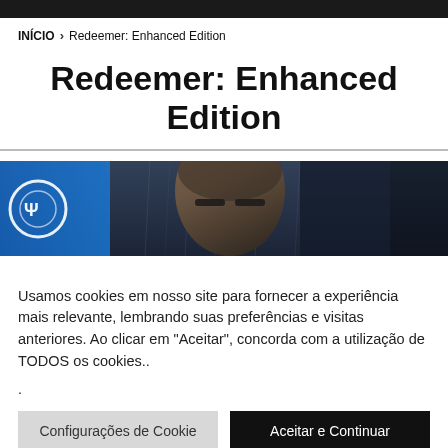INÍCIO > Redeemer: Enhanced Edition
Redeemer: Enhanced Edition
[Figure (photo): Game cover image for Redeemer: Enhanced Edition showing a close-up of a bald man's face with PlayStation logo visible on the left, dark and dramatic lighting with rain effect]
Usamos cookies em nosso site para fornecer a experiência mais relevante, lembrando suas preferências e visitas anteriores. Ao clicar em "Aceitar", concorda com a utilização de TODOS os cookies..
.
Configurações de Cookie | Aceitar e Continuar